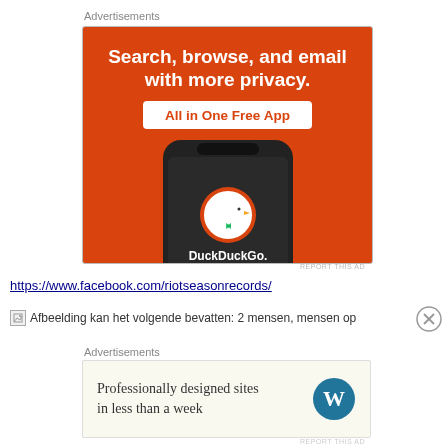Advertisements
[Figure (advertisement): DuckDuckGo advertisement on orange background with phone showing DuckDuckGo logo. Text: Search, browse, and email with more privacy. All in One Free App. DuckDuckGo.]
REPORT THIS AD
https://www.facebook.com/riotseasonrecords/
[Figure (illustration): Broken image icon followed by text: Afbeelding kan het volgende bevatten: 2 mensen, mensen op]
[Figure (other): Close/dismiss button (X circle)]
Advertisements
[Figure (advertisement): WordPress advertisement: Professionally designed sites in less than a week, with WordPress logo]